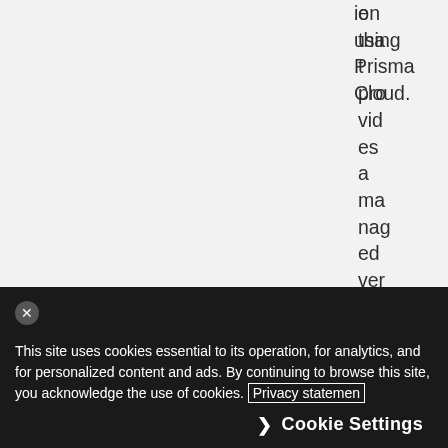e that provides a managed version of two popul...
ion using Prisma Cloud.
[Figure (other): Orange Feedback button tab on right side of page, vertical text reading 'Feedback' with double chevron arrow below]
This site uses cookies essential to its operation, for analytics, and for personalized content and ads. By continuing to browse this site, you acknowledge the use of cookies. Privacy statement
Cookie Settings